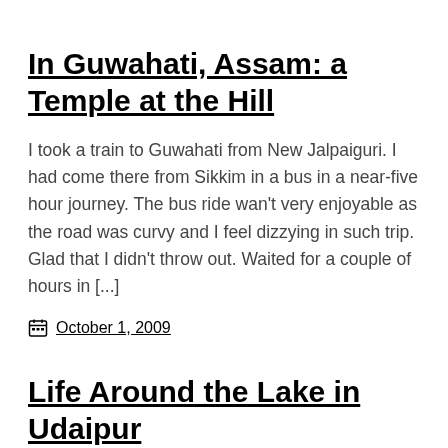In Guwahati, Assam: a Temple at the Hill
I took a train to Guwahati from New Jalpaiguri. I had come there from Sikkim in a bus in a near-five hour journey. The bus ride wan't very enjoyable as the road was curvy and I feel dizzying in such trip. Glad that I didn't throw out. Waited for a couple of hours in [...]
October 1, 2009
Life Around the Lake in Udaipur
Udaipur is the destination of many tourists. We passed by...